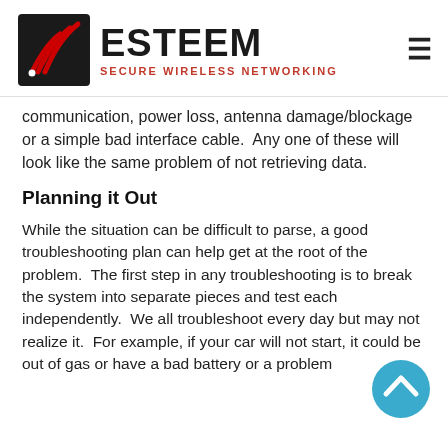ESTEEM SECURE WIRELESS NETWORKING
communication, power loss, antenna damage/blockage or a simple bad interface cable.  Any one of these will look like the same problem of not retrieving data.
Planning it Out
While the situation can be difficult to parse, a good troubleshooting plan can help get at the root of the problem.  The first step in any troubleshooting is to break the system into separate pieces and test each independently.  We all troubleshoot every day but may not realize it.  For example, if your car will not start, it could be out of gas or have a bad battery or a problem with the engine. You will systematically check each of
[Figure (illustration): Blue circular scroll-to-top button with white upward chevron arrow, positioned bottom-right corner]